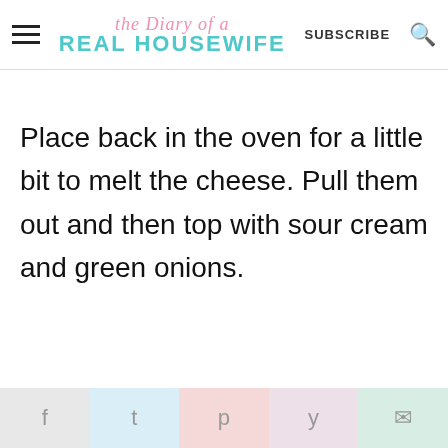the Diary of a REAL HOUSEWIFE | SUBSCRIBE
Place back in the oven for a little bit to melt the cheese. Pull them out and then top with sour cream and green onions.